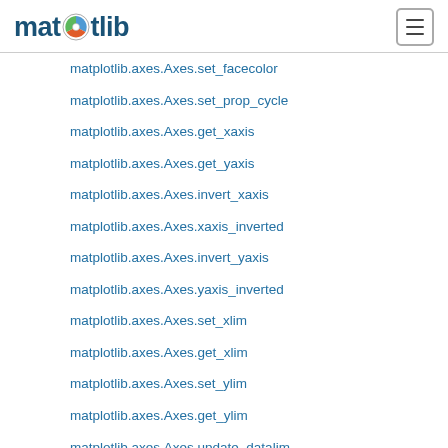matplotlib
matplotlib.axes.Axes.set_facecolor
matplotlib.axes.Axes.set_prop_cycle
matplotlib.axes.Axes.get_xaxis
matplotlib.axes.Axes.get_yaxis
matplotlib.axes.Axes.invert_xaxis
matplotlib.axes.Axes.xaxis_inverted
matplotlib.axes.Axes.invert_yaxis
matplotlib.axes.Axes.yaxis_inverted
matplotlib.axes.Axes.set_xlim
matplotlib.axes.Axes.get_xlim
matplotlib.axes.Axes.set_ylim
matplotlib.axes.Axes.get_ylim
matplotlib.axes.Axes.update_datalim